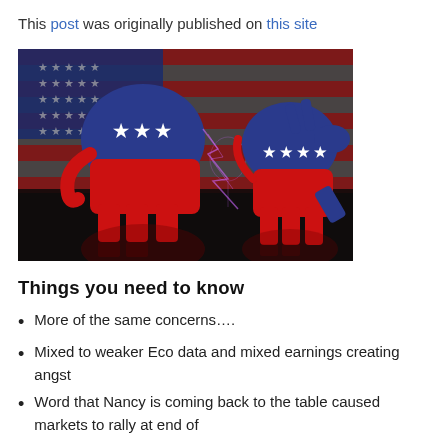This post was originally published on this site
[Figure (photo): Republican elephant and Democratic donkey figurines in red and blue, with American flag in background. Lightning/energy between them on a dark reflective surface.]
Things you need to know
More of the same concerns….
Mixed to weaker Eco data and mixed earnings creating angst
Word that Nancy is coming back to the table caused markets to rally at end of